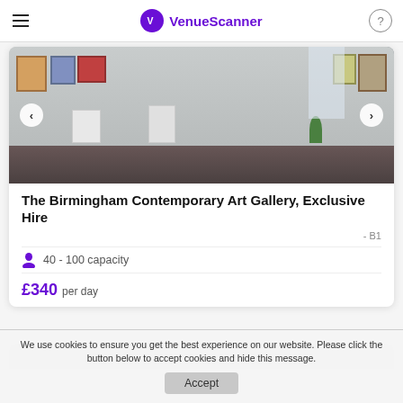VenueScanner
[Figure (photo): Interior of The Birmingham Contemporary Art Gallery showing a white-walled gallery space with artwork on walls, pedestals, and large windows]
The Birmingham Contemporary Art Gallery, Exclusive Hire
- B1
40 - 100 capacity
£340  per day
We use cookies to ensure you get the best experience on our website. Please click the button below to accept cookies and hide this message.